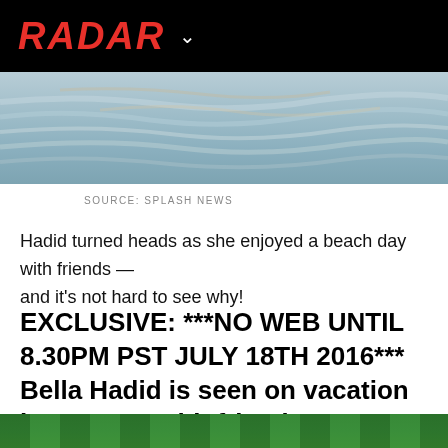RADAR
[Figure (photo): Blurred beach/water photo showing rippling waves, bluish-gray tones with sandy streaks]
SOURCE: SPLASH NEWS
Hadid turned heads as she enjoyed a beach day with friends — and it's not hard to see why!
EXCLUSIVE: ***NO WEB UNTIL 8.30PM PST JULY 18TH 2016*** Bella Hadid is seen on vacation in St Barts with friends.
[Figure (photo): Partial bottom strip showing colorful beach/outdoor scene, cropped]